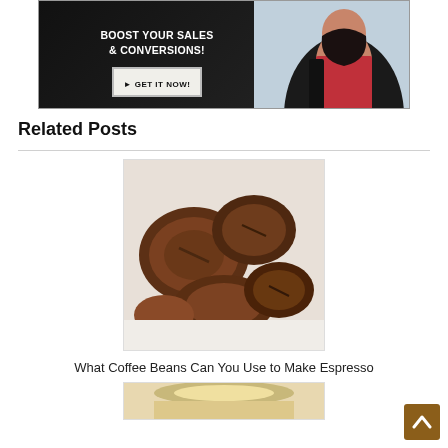[Figure (photo): Advertisement banner with dark background on left showing 'BOOST YOUR SALES & CONVERSIONS!' text and a 'GET IT NOW!' button, and a woman in a red dress on a light blue background on the right]
Related Posts
[Figure (photo): Close-up photograph of roasted coffee beans on a white surface]
What Coffee Beans Can You Use to Make Espresso
[Figure (photo): Partial photo of a coffee drink (espresso or latte) visible at bottom of page]